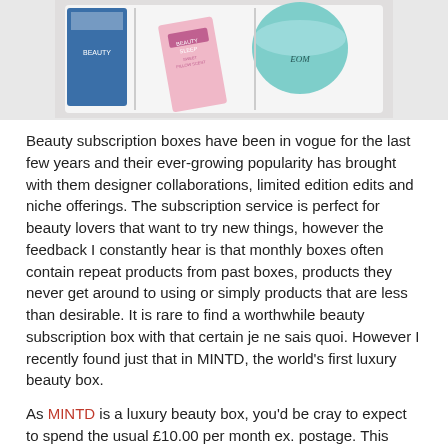[Figure (photo): Flatlay photo of beauty subscription box products including a pink 'Beauty Sleep Sweet Pillow Scent' box and a teal/green NEOM jar, arranged in a white box tray with blue packaging visible.]
Beauty subscription boxes have been in vogue for the last few years and their ever-growing popularity has brought with them designer collaborations, limited edition edits and niche offerings. The subscription service is perfect for beauty lovers that want to try new things, however the feedback I constantly hear is that monthly boxes often contain repeat products from past boxes, products they never get around to using or simply products that are less than desirable. It is rare to find a worthwhile beauty subscription box with that certain je ne sais quoi. However I recently found just that in MINTD, the world's first luxury beauty box.
As MINTD is a luxury beauty box, you'd be cray to expect to spend the usual £10.00 per month ex. postage. This beaut will set you back £65 per box - which seems like a lot, I know - however each monthly edit will be free of tiny sized, rarely-usable products... trust me.
Each MINTD box contains 4-5 full sized luxury beauty products